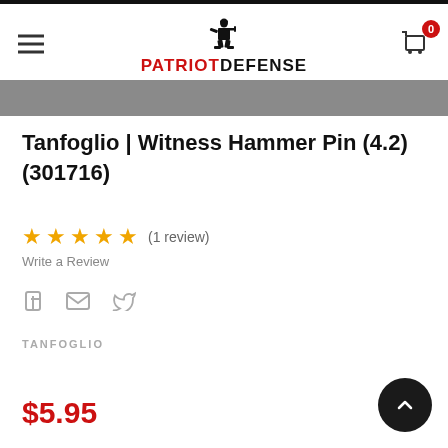Patriot Defense — navigation header with hamburger menu, logo, and cart (0)
Tanfoglio | Witness Hammer Pin (4.2) (301716)
★★★★★ (1 review)
Write a Review
[Figure (other): Social share icons: Facebook, Email, Twitter]
TANFOGLIO
$5.95